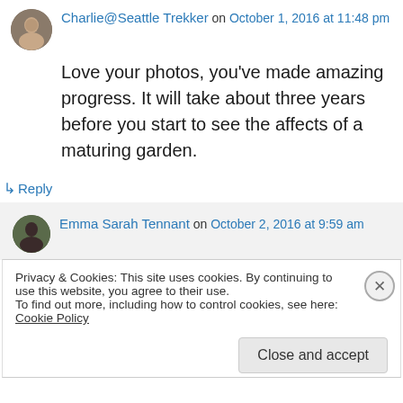Charlie@Seattle Trekker on October 1, 2016 at 11:48 pm
Love your photos, you've made amazing progress. It will take about three years before you start to see the affects of a maturing garden.
↳ Reply
Emma Sarah Tennant on October 2, 2016 at 9:59 am
Privacy & Cookies: This site uses cookies. By continuing to use this website, you agree to their use. To find out more, including how to control cookies, see here: Cookie Policy
Close and accept